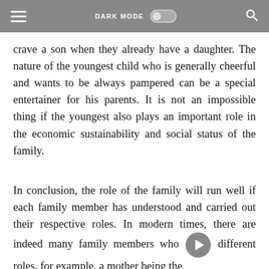DARK MODE [toggle] [search]
crave a son when they already have a daughter. The nature of the youngest child who is generally cheerful and wants to be always pampered can be a special entertainer for his parents. It is not an impossible thing if the youngest also plays an important role in the economic sustainability and social status of the family.
In conclusion, the role of the family will run well if each family member has understood and carried out their respective roles. In modern times, there are indeed many family members who play different roles, for example, a mother being the